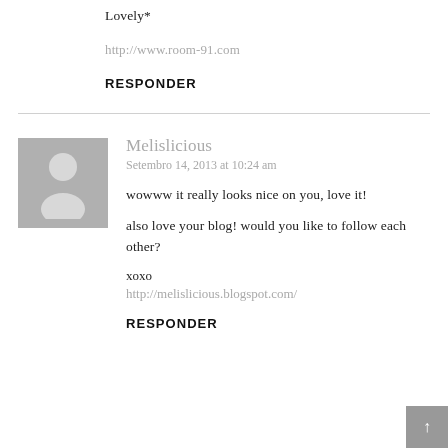Lovely*
http://www.room-91.com
RESPONDER
[Figure (illustration): Horizontal divider line]
[Figure (illustration): Gray avatar placeholder with person silhouette icon]
Melislicious
Setembro 14, 2013 at 10:24 am
wowww it really looks nice on you, love it!
also love your blog! would you like to follow each other?
xoxo
http://melislicious.blogspot.com/
RESPONDER